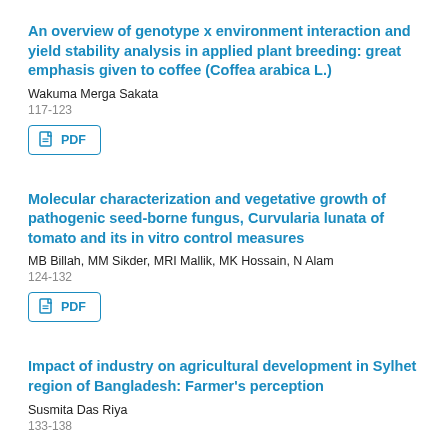An overview of genotype x environment interaction and yield stability analysis in applied plant breeding: great emphasis given to coffee (Coffea arabica L.)
Wakuma Merga Sakata
117-123
[Figure (other): PDF download button with document icon]
Molecular characterization and vegetative growth of pathogenic seed-borne fungus, Curvularia lunata of tomato and its in vitro control measures
MB Billah, MM Sikder, MRI Mallik, MK Hossain, N Alam
124-132
[Figure (other): PDF download button with document icon]
Impact of industry on agricultural development in Sylhet region of Bangladesh: Farmer's perception
Susmita Das Riya
133-138